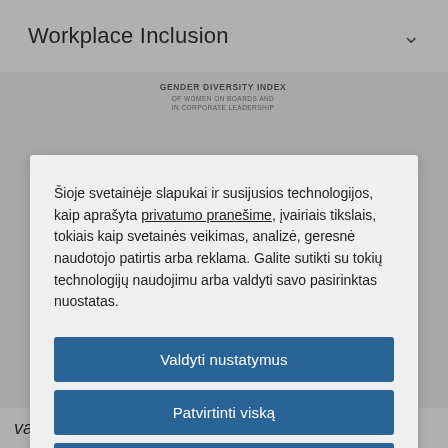Workplace Inclusion
[Figure (logo): Gender Diversity Index of Women on Boards and in Corporate Leadership logo]
Šioje svetainėje slapukai ir susijusios technologijos, kaip aprašyta privatumo pranešime, įvairiais tikslais, tokiais kaip svetainės veikimas, analizė, geresnė naudotojo patirtis arba reklama. Galite sutitki su tokių technologijų naudojimu arba valdyti savo pasirinktas nuostatas.
Valdyti nustatymus
Patvirtinti viską
Atsisakyti visko
Pareiškimas apie slapukus
valued and people are encouraged to bring